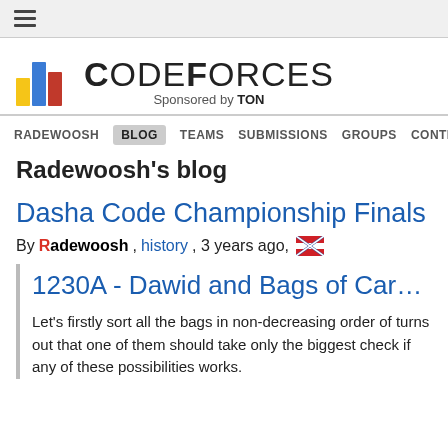≡ (hamburger menu)
[Figure (logo): Codeforces logo with bar chart icon and text 'CODEFORCES Sponsored by TON']
RADEWOOSH  BLOG  TEAMS  SUBMISSIONS  GROUPS  CONTESTS  PROBL...
Radewoosh's blog
Dasha Code Championship Finals
By Radewoosh, history, 3 years ago, 🇬🇧
1230A - Dawid and Bags of Can...
Let's firstly sort all the bags in non-decreasing order of turns out that one of them should take only the biggest check if any of these possibilities works.